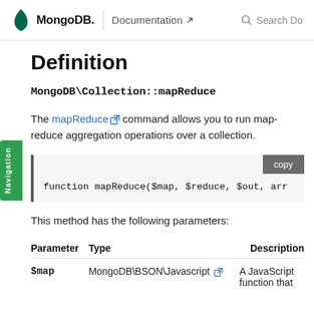MongoDB | Documentation  Search Do
Definition
MongoDB\Collection::mapReduce
The mapReduce command allows you to run map-reduce aggregation operations over a collection.
This method has the following parameters:
| Parameter | Type | Description |
| --- | --- | --- |
| $map | MongoDB\BSON\Javascript | A JavaScript function that |